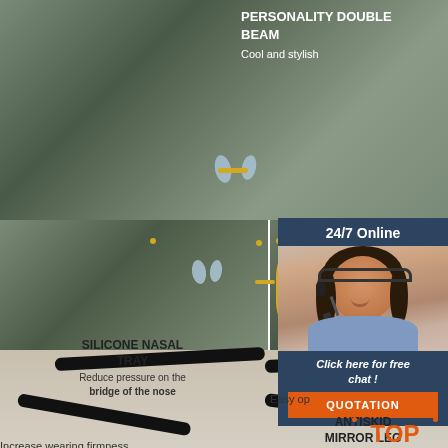PERSONALITY DOUBLE BEAM
Cool and stylish
[Figure (photo): Close-up of sunglasses showing gold metal frame with dark green lenses, transparent silicone nose pads, and double beam bridge design]
SILICONE NASAL TRAY
Reduce pressure on the bridge of the nose
Easy op
24/7 Online
Click here for free chat !
QUOTATION
ANTISKID MIRROR LEG
Increase wearing firmness
[Figure (photo): Close-up of black anti-skid sunglasses temple/leg arms on cream background]
TOP